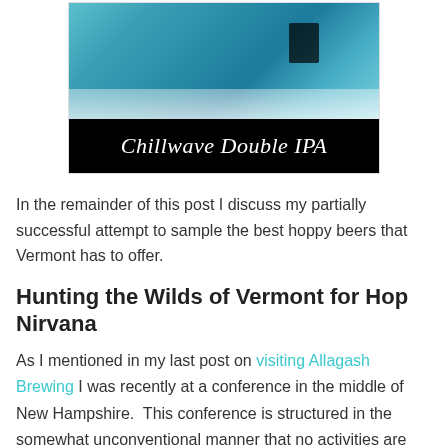[Figure (photo): Beer label image for Chillwave Double IPA showing a surfer on a wave with teal/blue water, with black background and italic white script text reading 'Chillwave Double IPA']
In the remainder of this post I discuss my partially successful attempt to sample the best hoppy beers that Vermont has to offer.
Hunting the Wilds of Vermont for Hop Nirvana
As I mentioned in my last post on visiting Allagash Brewing I was recently at a conference in the middle of New Hampshire.  This conference is structured in the somewhat unconventional manner that no activities are planned between